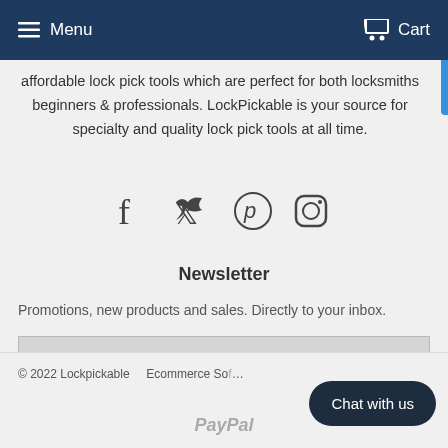Menu  Cart
affordable lock pick tools which are perfect for both locksmiths beginners & professionals. LockPickable is your source for specialty and quality lock pick tools at all time.
[Figure (infographic): Social media icons: Facebook, Twitter, Pinterest, Instagram]
Newsletter
Promotions, new products and sales. Directly to your inbox.
Email Address  SIGN UP
© 2022 Lockpickable  Ecommerce So...  Chat with us  PayPal